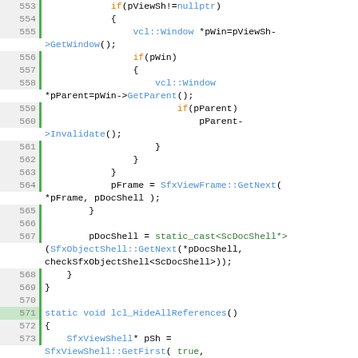[Figure (screenshot): Source code listing in C++ showing lines 553-577, syntax highlighted with line numbers on the left. Code includes conditional checks, window operations, and functions like lcl_HideAllReferences, SfxViewShell::GetFirst, static_cast operations.]